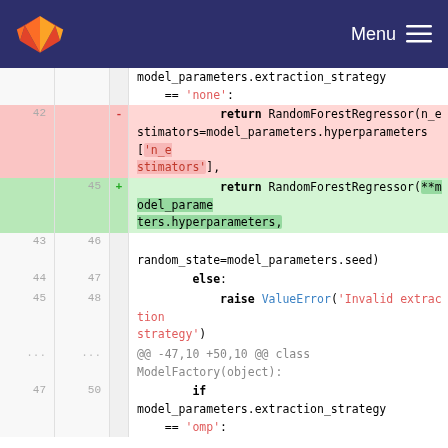GitLab — Menu
[Figure (screenshot): GitLab code diff view showing changes to a Python file. Removed lines (red background) show return RandomForestRegressor with n_estimators from model_parameters.hyperparameters['n_estimators']. Added lines (green background) show return RandomForestRegressor(**model_parameters.hyperparameters, with random_state=model_parameters.seed). Context lines show else: raise ValueError('Invalid extraction strategy') and further context with @@ -47,10 +50,10 @@ class ModelFactory(object): and if model_parameters.extraction_strategy == 'omp':]